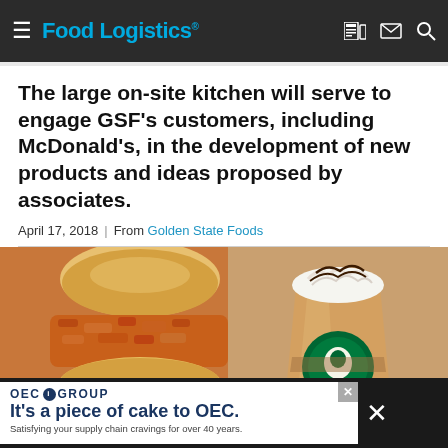Food Logistics
The large on-site kitchen will serve to engage GSF's customers, including McDonald's, in the development of new products and ideas proposed by associates.
April 17, 2018  |  From Golden State Foods
[Figure (photo): Composite image showing a fried chicken sandwich on the left and a Starbucks blended drink on the right, with a dark blue GSF-branded vehicle or surface visible at the bottom.]
[Figure (infographic): OEC Group advertisement banner: 'It's a piece of cake to OEC. Satisfying your supply chain cravings for over 40 years.']